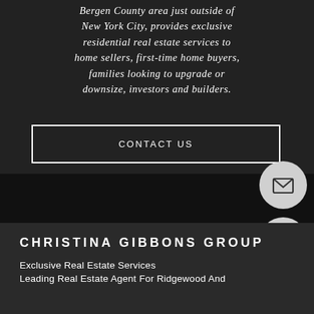Bergen County area just outside of New York City, provides exclusive residential real estate services to home sellers, first-time home buyers, families looking to upgrade or downsize, investors and builders.
CONTACT US
[Figure (illustration): Email icon in a light gray circle]
[Figure (illustration): Phone icon in a light gray circle]
CHRISTINA GIBBONS GROUP
Exclusive Real Estate Services
Leading Real Estate Agent For Ridgewood And